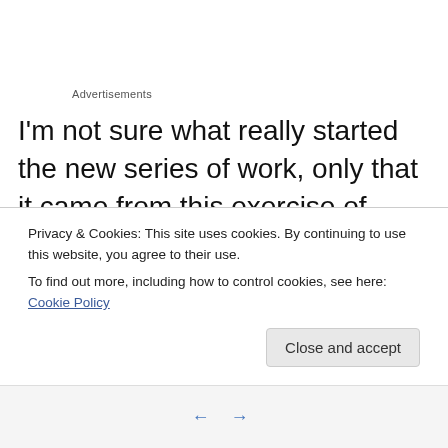Advertisements
I'm not sure what really started the new series of work, only that it came from this exercise of painting when stressed. The pieces have become much more involved and the integration of hands seems to have come very naturally. I initially thought it was due to so many bodies being involved in the stressful activity but now I'm not so sure. I am no longer chasing the meaning merely letting it
Privacy & Cookies: This site uses cookies. By continuing to use this website, you agree to their use.
To find out more, including how to control cookies, see here: Cookie Policy
Close and accept